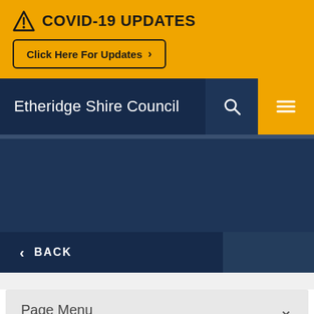COVID-19 UPDATES — Click Here For Updates
Etheridge Shire Council
[Figure (screenshot): Dark navy content area with no visible text]
< BACK
Page Menu